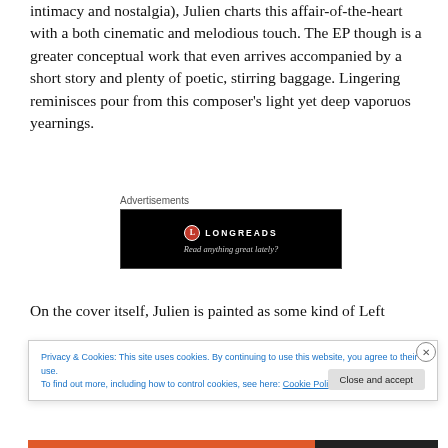intimacy and nostalgia), Julien charts this affair-of-the-heart with a both cinematic and melodious touch. The EP though is a greater conceptual work that even arrives accompanied by a short story and plenty of poetic, stirring baggage. Lingering reminisces pour from this composer's light yet deep vaporuos yearnings.
Advertisements
[Figure (other): Longreads advertisement banner — black background with red circle logo, text 'LONGREADS' and tagline 'Read anything great lately?']
On the cover itself, Julien is painted as some kind of Left
Privacy & Cookies: This site uses cookies. By continuing to use this website, you agree to their use.
To find out more, including how to control cookies, see here: Cookie Policy
Close and accept